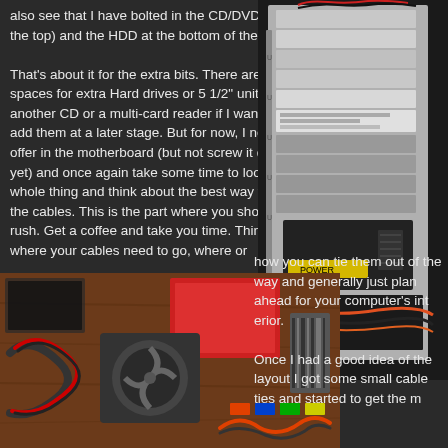also see that I have bolted in the CD/DVD drive (at the top) and the HDD at the bottom of the case.

That's about it for the extra bits. There are plenty of spaces for extra Hard drives or 5 1/2" units like another CD or a multi-card reader if I wanted to add them at a later stage. But for now, I need to offer in the motherboard (but not screw it down just yet) and once again take some time to look at the whole thing and think about the best way to route the cables. This is the part where you shouldn't rush. Get a coffee and take you time. Think about where your cables need to go, where or
[Figure (photo): Interior of a computer case showing drive bays, optical drives, power supply, and cabling]
[Figure (photo): Assorted computer components, cables, and parts laid out on a wooden surface]
how you can tie them out of the way and generally just plan ahead for your computer's interior.

Once I had a good idea of the layout I got some small cable ties and started to get the m